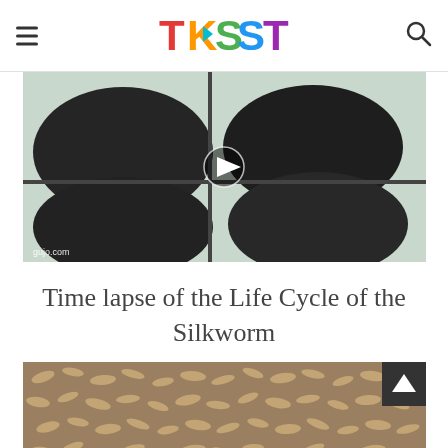TKSST
[Figure (photo): Video thumbnail showing silkworm cocoons in a grid of compartments, dark oval cocoons visible in four sections divided by dark bars. Play button overlay in center. Watermark 'gujo.com' in lower left.]
Time lapse of the Life Cycle of the Silkworm
[Figure (photo): Close-up photo of many silkworms (larvae) clustered together on a surface, with what appears to be one emerging moth or cocoon visible among them.]